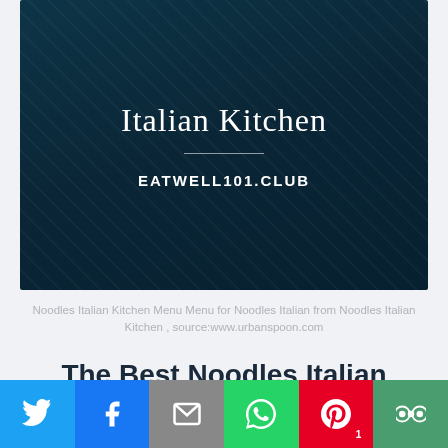[Figure (illustration): Dark teal/navy patterned background with text 'Italian Kitchen' in serif white font, a horizontal divider line, and bold white text 'EATWELL101.CLUB']
Noodles Italian Kitchen Menu Menu for Noodles Italian from Noodles Italian Kitchen , source:www.urbanspoon.com
The Best Noodles Italian Kitchen
By admin   Posted on January 20, 2021
[Figure (infographic): Social media sharing bar with Twitter (blue), Facebook (dark blue), Email (gray), WhatsApp (green), Pinterest (red, shows count 1), More (teal-green) icons]